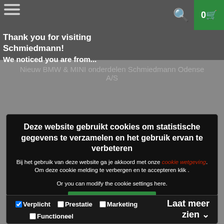Thank you for visiting Schmiedmann!
We noticed you are from...
Nieuw BMW & MINI onderdelen Schmiedmann Odense A/S
Deze website gebruikt cookies om statistische gegevens te verzamelen en het gebruik ervan te verbeteren
Bij het gebruik van deze website ga je akkoord met onze cookie wetgeving. Om deze cookie melding te verbergen en te accepteren klik .
Or you can modify the cookie settings here.
Sta alle cookies toe
Sta geselecteerde cookies toe
Verplicht  Prestatie  Marketing  Functioneel
Laat meer zien